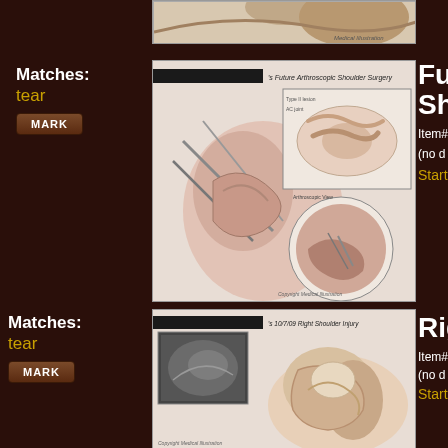[Figure (illustration): Partially visible medical illustration at top of page, cropped]
Matches:
tear
MARK
[Figure (illustration): Future Arthroscopic Shoulder Surgery medical illustration showing surgical procedure with inset arthroscopic view]
Futu Sho
Item#
(no d
Startin
Matches:
tear
MARK
[Figure (illustration): Right Shoulder Injury 10/7/09 medical illustration showing X-ray inset and anatomical shoulder diagram]
Righ
Item#
(no d
Startin